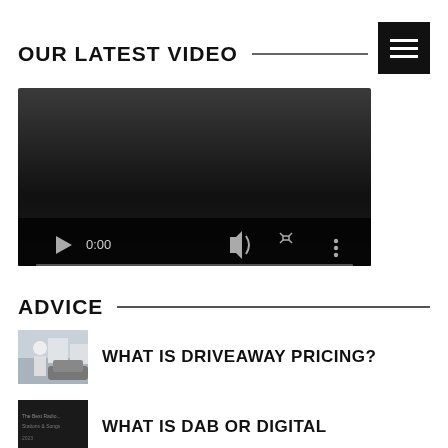OUR LATEST VIDEO
[Figure (screenshot): Video player with dark background showing controls: play button, time 0:00, speaker icon, fullscreen icon, menu icon, and a progress bar at the bottom. A hamburger menu icon appears top-right.]
ADVICE
WHAT IS DRIVEAWAY PRICING?
WHAT IS DAB OR DIGITAL